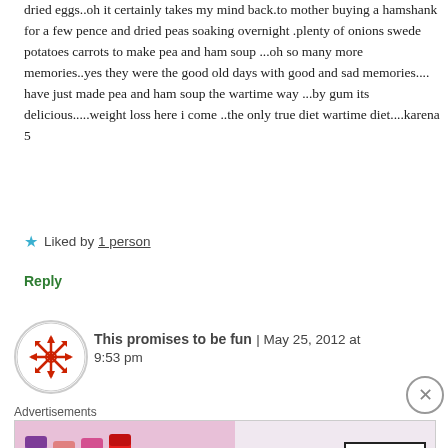dried eggs..oh it certainly takes my mind back.to mother buying a hamshank for a few pence and dried peas soaking overnight .plenty of onions swede potatoes carrots to make pea and ham soup ...oh so many more memories..yes they were the good old days with good and sad memories.... have just made pea and ham soup the wartime way ...by gum its delicious.....weight loss here i come ..the only true diet wartime diet....karena 5
★ Liked by 1 person
Reply
This promises to be fun | May 25, 2012 at 9:53 pm
[Figure (other): Circular avatar/logo with red geometric star pattern on white background]
[Figure (other): MAC Cosmetics advertisement banner showing lipsticks in purple, peach, pink, and red colors with MAC logo and SHOP NOW button]
Advertisements